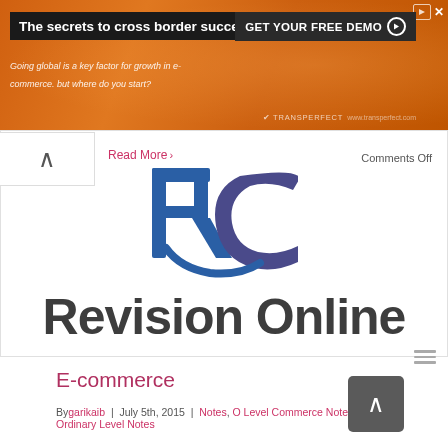[Figure (photo): Orange advertisement banner for cross-border e-commerce with headline and CTA button]
The secrets to cross border success
Going global is a key factor for growth in e-commerce. but where do you start?
GET YOUR FREE DEMO
[Figure (logo): Revision Online logo with stylized RC letters in blue/purple]
Revision Online
Read More >
Comments Off
E-commerce
By garikaib | July 5th, 2015 | Notes, O Level Commerce Notes, Ordinary Level Notes